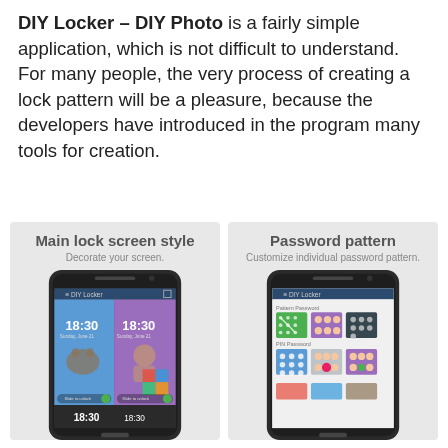DIY Locker – DIY Photo is a fairly simple application, which is not difficult to understand. For many people, the very process of creating a lock pattern will be a pleasure, because the developers have introduced in the program many tools for creation.
[Figure (screenshot): Two smartphone screenshots side by side. Left: 'Main lock screen style – Decorate your screen.' showing DIY Locker app with multiple lock screen themes displaying 18:30 time. Right: 'Password pattern – Customize individual password pattern.' showing DIY Locker app with Pattern Password and PIN Password options in a grid.]